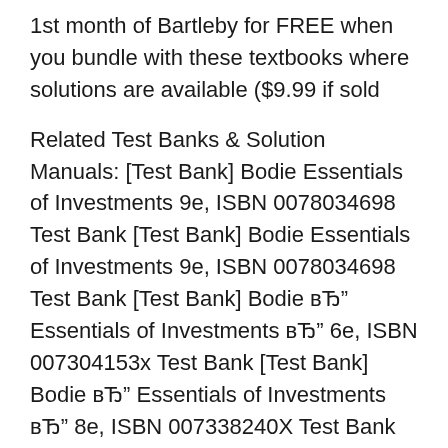1st month of Bartleby for FREE when you bundle with these textbooks where solutions are available ($9.99 if sold
Related Test Banks & Solution Manuals: [Test Bank] Bodie Essentials of Investments 9e, ISBN 0078034698 Test Bank [Test Bank] Bodie Essentials of Investments 9e, ISBN 0078034698 Test Bank [Test Bank] Bodie вЂ" Essentials of Investments вЂ" 6e, ISBN 007304153x Test Bank [Test Bank] Bodie вЂ" Essentials of Investments вЂ" 8e, ISBN 007338240X Test Bank Related Test Banks & Solution Manuals: [Solution Manual] Bodie Essentials of Investments 9e, ISBN 0078034698 Solution Manual? [Solution Manual] [InstructorвЂ™s Manual] Bodie вЂ" Essentials of Investments вЂ" 10e, ISBN